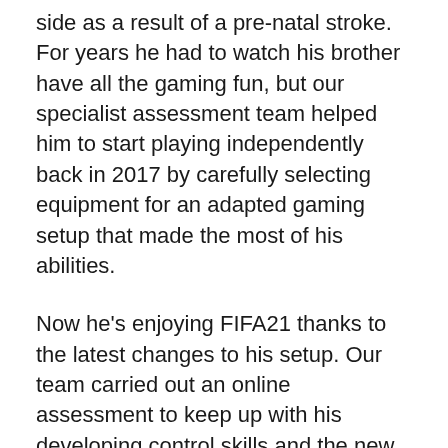side as a result of a pre-natal stroke. For years he had to watch his brother have all the gaming fun, but our specialist assessment team helped him to start playing independently back in 2017 by carefully selecting equipment for an adapted gaming setup that made the most of his abilities.
Now he's enjoying FIFA21 thanks to the latest changes to his setup. Our team carried out an online assessment to keep up with his developing control skills and the new games he wanted to play, and as a result he's now trying out extra switches and a newer adaptor to help him level up to more complex titles.